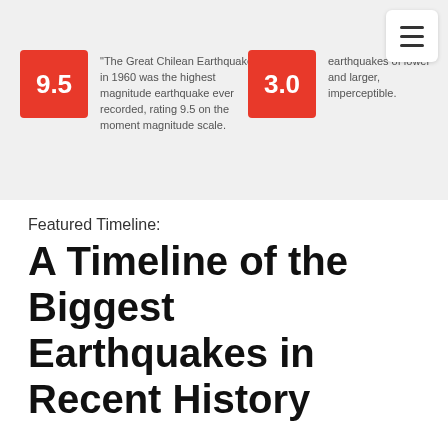[Figure (infographic): Banner infographic showing two earthquake magnitude cards. Left card: red square badge with '9.5' and text about the Great Chilean Earthquake in 1960 being the highest magnitude earthquake ever recorded, rating 9.5 on the moment magnitude scale. Right card: red square badge with '3.0' and partially visible text about earthquakes of lower and larger, imperceptible. A hamburger menu button in top right corner.]
Featured Timeline:
A Timeline of the Biggest Earthquakes in Recent History